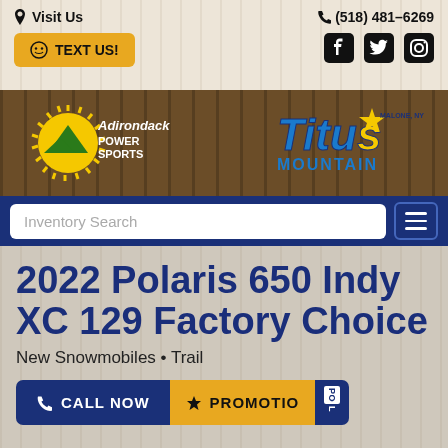Visit Us | (518) 481-6269 | TEXT US!
[Figure (logo): Adirondack Power Sports logo with yellow sunburst and green mountain]
[Figure (logo): Titus Mountain logo in blue and yellow text]
Inventory Search
2022 Polaris 650 Indy XC 129 Factory Choice
New Snowmobiles • Trail
CALL NOW
PROMOTIO